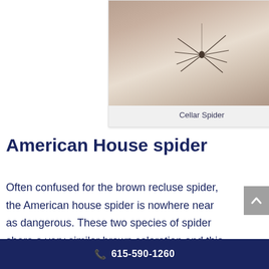[Figure (photo): A cellar spider (daddy long legs) photographed against a light background, showing its long thin legs and small body]
Cellar Spider
American House spider
Often confused for the brown recluse spider, the American house spider is nowhere near as dangerous. These two species of spider share a very similar brown coloration and this is the reason the two get confused for one another.
615-590-1260